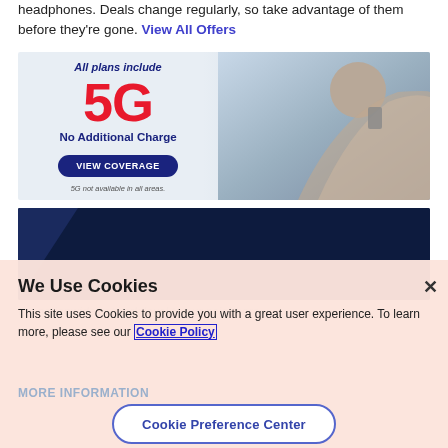headphones. Deals change regularly, so take advantage of them before they're gone. View All Offers
[Figure (photo): 5G advertisement banner: 'All plans include 5G No Additional Charge' with VIEW COVERAGE button, person talking on phone in background]
[Figure (photo): Dark navy banner: 'SEE WHAT MAKES US AMERICA'S LOCALLY GROWN WIRELESS']
the nationwide network loyal to our neighbors...
We Use Cookies
This site uses Cookies to provide you with a great user experience. To learn more, please see our Cookie Policy
MORE INFORMATION
Cookie Preference Center